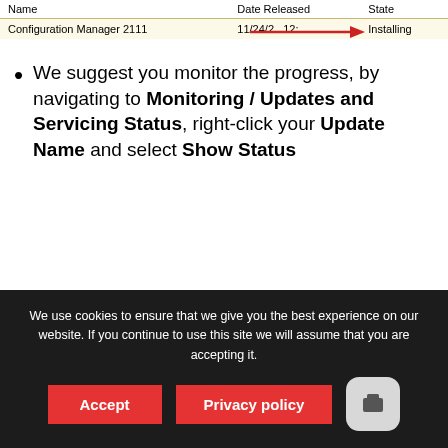| Name | Date Released | State |
| --- | --- | --- |
| Configuration Manager 2111 | 11/24/2...12:... | Installing |
We suggest you monitor the progress, by navigating to Monitoring / Updates and Servicing Status, right-click your Update Name and select Show Status
[Figure (screenshot): Update Pack Installation Status dialog showing Configuration Manager 2111 installation status on site SCD, with a table listing Name, Status, Last Update Time columns. Download row shows Completed status dated 11/30/2021 7:31:57 AM.]
We use cookies to ensure that we give you the best experience on our website. If you continue to use this site we will assume that you are accepting it.